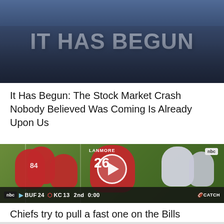[Figure (photo): Dark image with large white bold text reading 'IT HAS BEGUN' overlaid on a crowd background]
It Has Begun: The Stock Market Crash Nobody Believed Was Coming Is Already Upon Us
[Figure (screenshot): NFL football game screenshot showing Kansas City Chiefs players in red jerseys, scoreboard reading BUF 24, KC 13, 2nd quarter, NBC broadcast, with a play button overlay]
Chiefs try to pull a fast one on the Bills